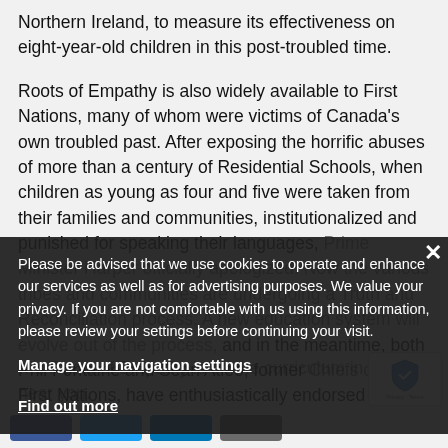Northern Ireland, to measure its effectiveness on eight-year-old children in this post-troubled time.
Roots of Empathy is also widely available to First Nations, many of whom were victims of Canada's own troubled past. After exposing the horrific abuses of more than a century of Residential Schools, when children as young as four and five were taken from their families and communities, institutionalized and punished for speaking their languages, Prime Minister Harper officially apologized. Now the various tribes and communities are undergoing a Truth and Reconciliation process. A new education system will evolve out of the process, and in the meantime, both Phil Fontaine and Sean Atleo, former Chiefs of the First Nations, have enthusiastically endorsed the program.
Please be advised that we use cookies to operate and enhance our services as well as for advertising purposes. We value your privacy. If you are not comfortable with us using this information, please review your settings before continuing your visit.
Manage your navigation settings
Find out more
...s Roots of Empathy is on the curriculum in a school near you.